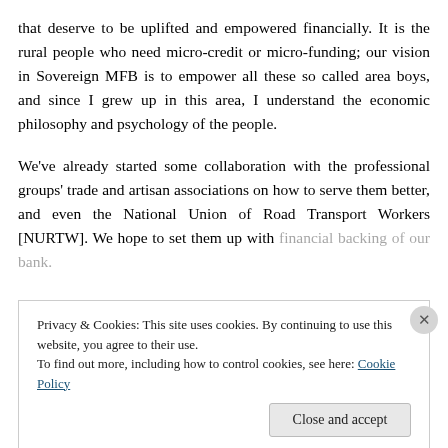that deserve to be uplifted and empowered financially. It is the rural people who need micro-credit or micro-funding; our vision in Sovereign MFB is to empower all these so called area boys, and since I grew up in this area, I understand the economic philosophy and psychology of the people.
We've already started some collaboration with the professional groups' trade and artisan associations on how to serve them better, and even the National Union of Road Transport Workers [NURTW]. We hope to set them up with financial backing of our bank.
Privacy & Cookies: This site uses cookies. By continuing to use this website, you agree to their use.
To find out more, including how to control cookies, see here: Cookie Policy